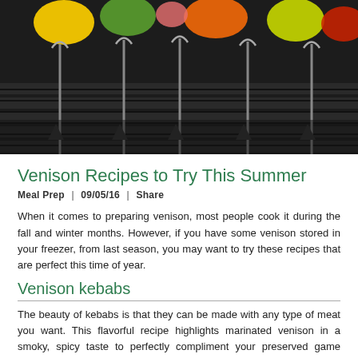[Figure (photo): Colorful vegetable and meat kebabs on a dark grill grate, viewed from above, with skewer handles visible]
Venison Recipes to Try This Summer
Meal Prep  |  09/05/16  |  Share
When it comes to preparing venison, most people cook it during the fall and winter months. However, if you have some venison stored in your freezer, from last season, you may want to try these recipes that are perfect this time of year.
Venison kebabs
The beauty of kebabs is that they can be made with any type of meat you want. This flavorful recipe highlights marinated venison in a smoky, spicy taste to perfectly compliment your preserved game meat.